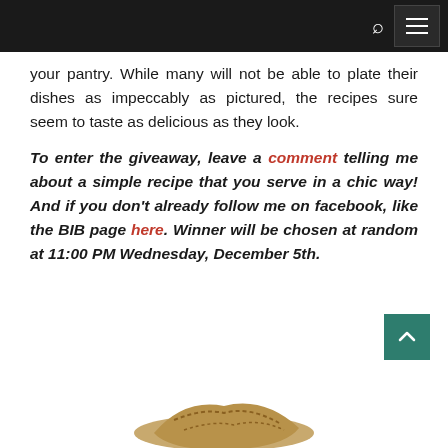[navigation bar with search and menu icons]
your pantry. While many will not be able to plate their dishes as impeccably as pictured, the recipes sure seem to taste as delicious as they look.
To enter the giveaway, leave a comment telling me about a simple recipe that you serve in a chic way! And if you don't already follow me on facebook, like the BIB page here. Winner will be chosen at random at 11:00 PM Wednesday, December 5th.
[Figure (photo): Partial view of a food item (appears to be a pastry or baked good) at the bottom of the page]